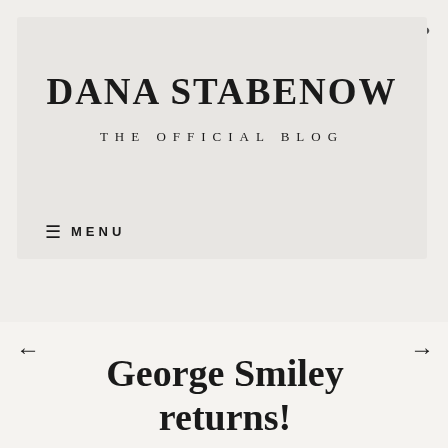DANA STABENOW
THE OFFICIAL BLOG
≡ MENU
···
←
→
George Smiley returns!